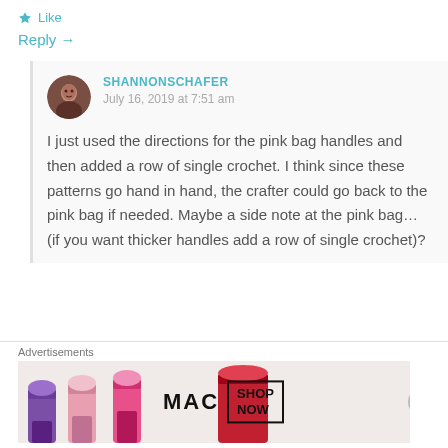Like
Reply →
SHANNONSCHAFER
July 16, 2019 at 7:51 am
I just used the directions for the pink bag handles and then added a row of single crochet. I think since these patterns go hand in hand, the crafter could go back to the pink bag if needed. Maybe a side note at the pink bag... (if you want thicker handles add a row of single crochet)?
Advertisements
[Figure (photo): MAC cosmetics advertisement banner showing lipsticks in purple, pink and red with MAC logo and SHOP NOW text]